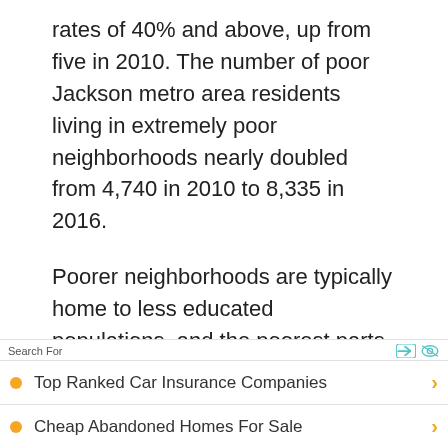rates of 40% and above, up from five in 2010. The number of poor Jackson metro area residents living in extremely poor neighborhoods nearly doubled from 4,740 in 2010 to 8,335 in 2016.
Poorer neighborhoods are typically home to less educated populations, and the poorest parts of Jackson are no exception. Just 12.3% of adults in the metro area's poorest neighborhoods have a bachelor's degree, and 72.3% have not had a diploma...
Search For | Top Ranked Car Insurance Companies | Cheap Abandoned Homes For Sale